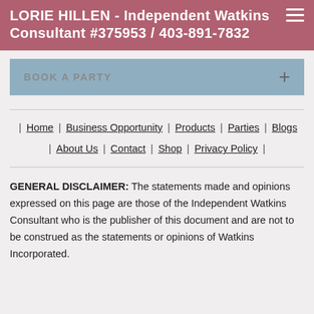LORIE HILLEN - Independent Watkins Consultant #375953 / 403-891-7832
BOOK A PARTY
| Home | Business Opportunity | Products | Parties | Blogs | About Us | Contact | Shop | Privacy Policy |
GENERAL DISCLAIMER: The statements made and opinions expressed on this page are those of the Independent Watkins Consultant who is the publisher of this document and are not to be construed as the statements or opinions of Watkins Incorporated.